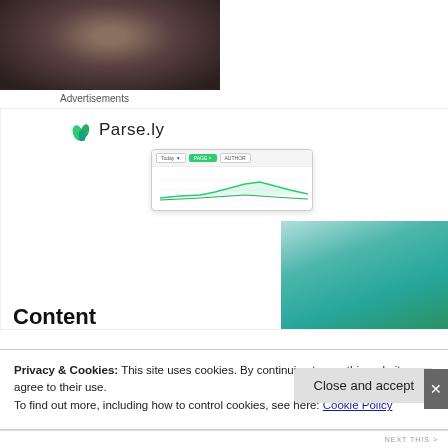[Figure (photo): Close-up photograph of a person's face with dark hair, partially cropped]
Advertisements
[Figure (infographic): Parse.ly advertisement banner showing logo, a dashboard analytics screenshot, and a woman in a green top. Text reads: Content Analytics Made Easy]
Privacy & Cookies: This site uses cookies. By continuing to use this website, you agree to their use.
To find out more, including how to control cookies, see here: Cookie Policy
Close and accept